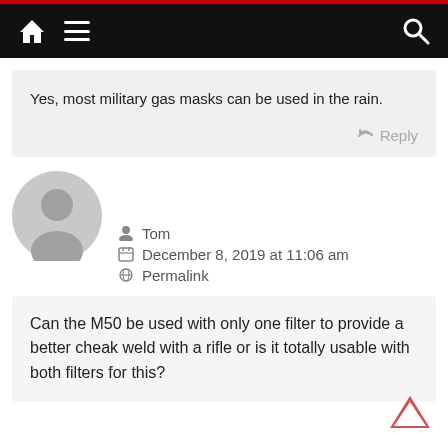Navigation bar with home, menu, and search icons
Yes, most military gas masks can be used in the rain.
Reply
[Figure (illustration): Generic user avatar - grey circle with person silhouette]
Tom
December 8, 2019 at 11:06 am
Permalink
Can the M50 be used with only one filter to provide a better cheak weld with a rifle or is it totally usable with both filters for this?